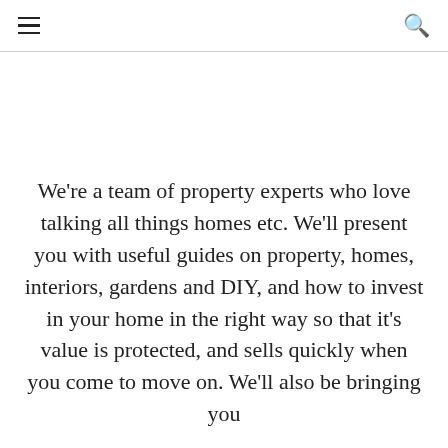≡  🔍
We're a team of property experts who love talking all things homes etc. We'll present you with useful guides on property, homes, interiors, gardens and DIY, and how to invest in your home in the right way so that it's value is protected, and sells quickly when you come to move on. We'll also be bringing you